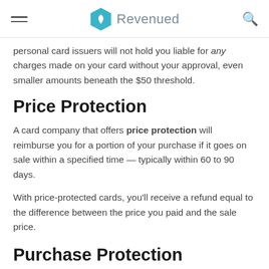Revenued
personal card issuers will not hold you liable for any charges made on your card without your approval, even smaller amounts beneath the $50 threshold.
Price Protection
A card company that offers price protection will reimburse you for a portion of your purchase if it goes on sale within a specified time — typically within 60 to 90 days.
With price-protected cards, you'll receive a refund equal to the difference between the price you paid and the sale price.
Purchase Protection